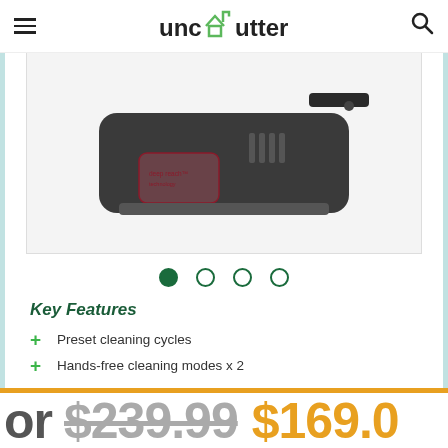unclutterer
[Figure (photo): A robotic vacuum cleaner product photo showing the device from a side-top angle with a 'deep reach technology' label visible on its dust cup.]
Key Features
Preset cleaning cycles
Hands-free cleaning modes x 2
or $239.99 $169.0